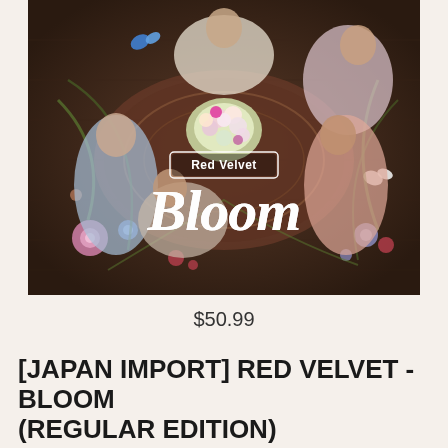[Figure (photo): Album cover for Red Velvet - Bloom. Five K-pop group members arranged around a large floral centerpiece on a ornate rug, viewed from above. The image has a dark wooden floor background with scattered decorative flowers. White text reads 'Red Velvet' in a rectangular badge and 'Bloom' in large decorative script.]
$50.99
[JAPAN IMPORT] RED VELVET - BLOOM (REGULAR EDITION)